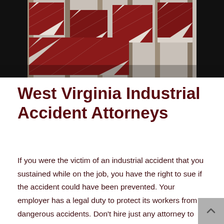[Figure (photo): Photograph of red-and-white striped construction/road barrier signs stacked against a wall]
West Virginia Industrial Accident Attorneys
If you were the victim of an industrial accident that you sustained while on the job, you have the right to sue if the accident could have been prevented. Your employer has a legal duty to protect its workers from dangerous accidents. Don't hire just any attorney to represent you. Contact Lacy Law. Our West Virginia industrial accident attorneys